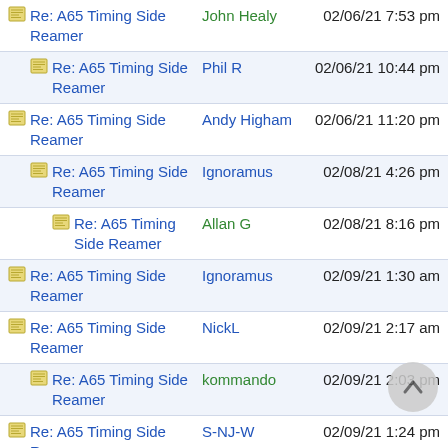Re: A65 Timing Side Reamer | John Healy | 02/06/21 7:53 pm
Re: A65 Timing Side Reamer | Phil R | 02/06/21 10:44 pm
Re: A65 Timing Side Reamer | Andy Higham | 02/06/21 11:20 pm
Re: A65 Timing Side Reamer | Ignoramus | 02/08/21 4:26 pm
Re: A65 Timing Side Reamer | Allan G | 02/08/21 8:16 pm
Re: A65 Timing Side Reamer | Ignoramus | 02/09/21 1:30 am
Re: A65 Timing Side Reamer | NickL | 02/09/21 2:17 am
Re: A65 Timing Side Reamer | kommando | 02/09/21 2:03 pm
Re: A65 Timing Side Reamer | S-NJ-W | 02/09/21 1:24 pm